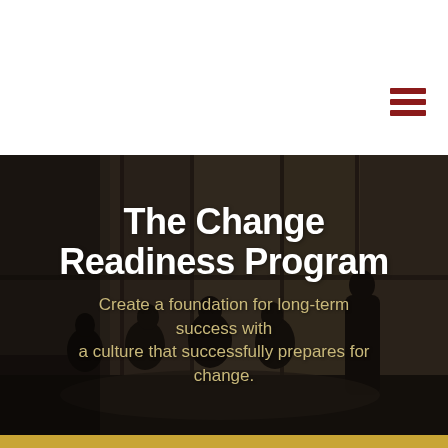[Figure (other): Hamburger menu icon with three dark red horizontal bars in the upper right corner of a white navigation bar]
[Figure (photo): Dark-toned photograph of business professionals sitting around a table in a modern office with large windows, with overlaid title and subtitle text]
The Change Readiness Program
Create a foundation for long-term success with a culture that successfully prepares for change.